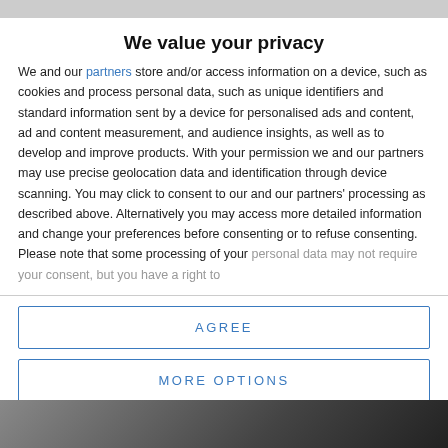We value your privacy
We and our partners store and/or access information on a device, such as cookies and process personal data, such as unique identifiers and standard information sent by a device for personalised ads and content, ad and content measurement, and audience insights, as well as to develop and improve products. With your permission we and our partners may use precise geolocation data and identification through device scanning. You may click to consent to our and our partners' processing as described above. Alternatively you may access more detailed information and change your preferences before consenting or to refuse consenting. Please note that some processing of your personal data may not require your consent, but you have a right to
AGREE
MORE OPTIONS
[Figure (photo): Partial photo visible at bottom of page behind modal overlay]